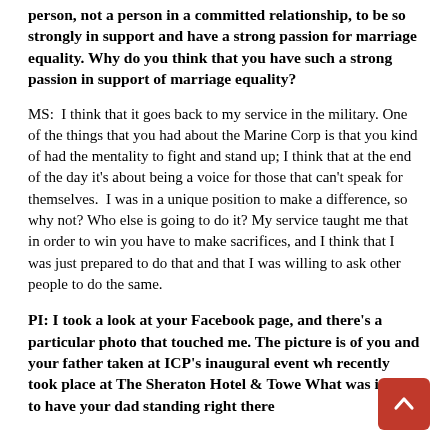person, not a person in a committed relationship, to be so strongly in support and have a strong passion for marriage equality. Why do you think that you have such a strong passion in support of marriage equality?
MS:  I think that it goes back to my service in the military. One of the things that you had about the Marine Corp is that you kind of had the mentality to fight and stand up; I think that at the end of the day it's about being a voice for those that can't speak for themselves.  I was in a unique position to make a difference, so why not? Who else is going to do it? My service taught me that in order to win you have to make sacrifices, and I think that I was just prepared to do that and that I was willing to ask other people to do the same.
PI: I took a look at your Facebook page, and there's a particular photo that touched me. The picture is of you and your father taken at ICP's inaugural event wh recently took place at The Sheraton Hotel & Towe What was it like to have your dad standing right there